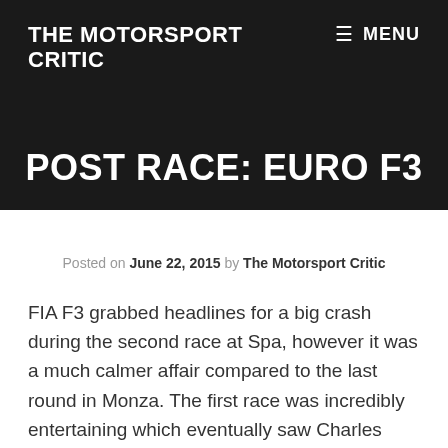THE MOTORSPORT CRITIC
POST RACE: EURO F3
Posted on June 22, 2015 by The Motorsport Critic
FIA F3 grabbed headlines for a big crash during the second race at Spa, however it was a much calmer affair compared to the last round in Monza. The first race was incredibly entertaining which eventually saw Charles Leclerc win ahead of Felix Rosenqvist and Alexander Albon after Antonio Giovanazzi clashed with Rosenqvist.